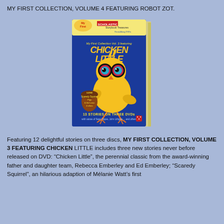MY FIRST COLLECTION, VOLUME 4 FEATURING ROBOT ZOT.
[Figure (photo): Product photo of 'My First Collection Vol. 3 featuring Chicken Little' Scholastic Storybook Treasures 3-DVD set box, showing a blue cover with a yellow cartoon chick character with large round eyes, an acorn, and text '13 STORIES ON THREE DVDs with voices of Sean Hayes, John Lithgow and others'. Also includes Scaredy Squirrel and other stories.]
Featuring 12 delightful stories on three discs, MY FIRST COLLECTION, VOLUME 3 FEATURING CHICKEN LITTLE includes three new stories never before released on DVD: “Chicken Little”, the perennial classic from the award-winning father and daughter team, Rebecca Emberley and Ed Emberley; “Scaredy Squirrel”, an hilarious adaption of Mélanie Watt’s first